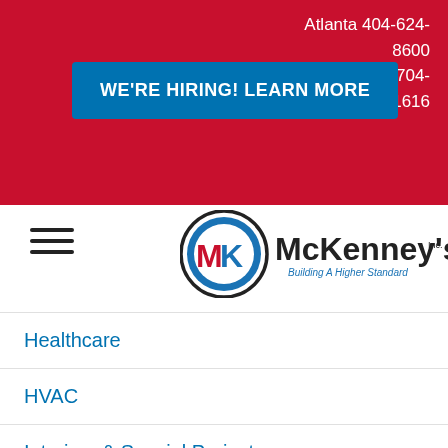Atlanta 404-624-8600
Charlotte 704-357-1616
WE'RE HIRING! LEARN MORE
[Figure (logo): McKenney's Inc. logo with MK initials in a circle and tagline 'Building A Higher Standard']
Healthcare
HVAC
Interiors & Special Projects
LEAN
Mechanical
New Construction
News